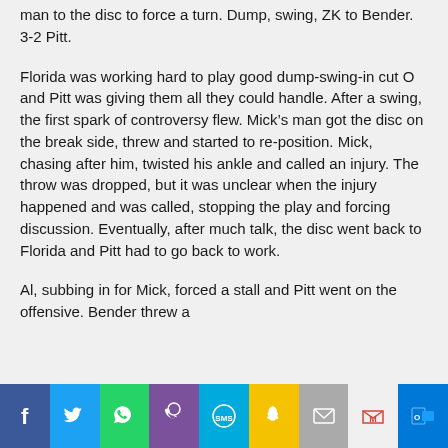man to the disc to force a turn. Dump, swing, ZK to Bender. 3-2 Pitt.
Florida was working hard to play good dump-swing-in cut O and Pitt was giving them all they could handle. After a swing, the first spark of controversy flew. Mick’s man got the disc on the break side, threw and started to re-position. Mick, chasing after him, twisted his ankle and called an injury. The throw was dropped, but it was unclear when the injury happened and was called, stopping the play and forcing discussion. Eventually, after much talk, the disc went back to Florida and Pitt had to go back to work.
Al, subbing in for Mick, forced a stall and Pitt went on the offensive. Bender threw a
[Figure (infographic): Social media sharing bar with icons: Facebook, Twitter, WhatsApp, Phone, SMS, Snapchat, Email, Gmail, Outlook]